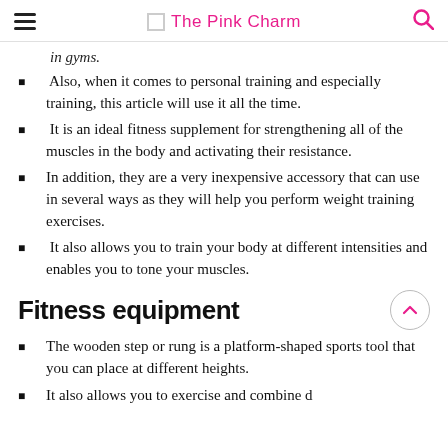The Pink Charm
in gyms.
Also, when it comes to personal training and especially training, this article will use it all the time.
It is an ideal fitness supplement for strengthening all of the muscles in the body and activating their resistance.
In addition, they are a very inexpensive accessory that can use in several ways as they will help you perform weight training exercises.
It also allows you to train your body at different intensities and enables you to tone your muscles.
Fitness equipment
The wooden step or rung is a platform-shaped sports tool that you can place at different heights.
It also allows you to exercise and combine d...